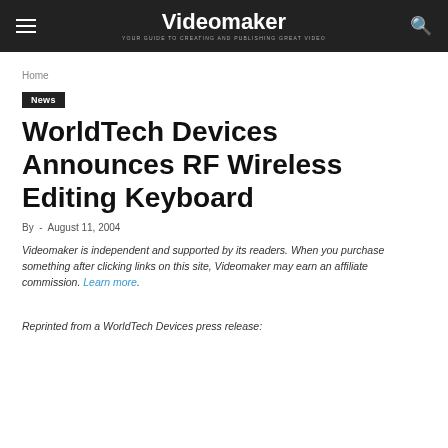Videomaker — YOUR GUIDE TO CREATING AND PUBLISHING GREAT VIDEO
Home
News
WorldTech Devices Announces RF Wireless Editing Keyboard
By  -  August 11, 2004
Videomaker is independent and supported by its readers. When you purchase something after clicking links on this site, Videomaker may earn an affiliate commission. Learn more.
Reprinted from a WorldTech Devices press release: